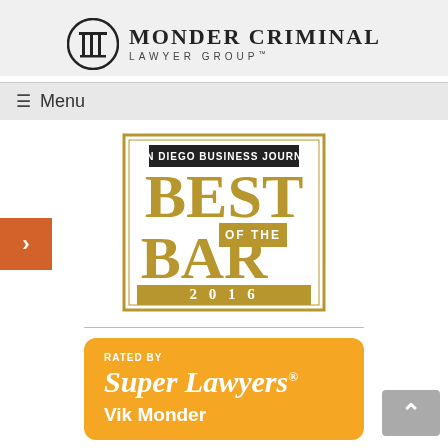Monder Criminal Lawyer Group
≡ Menu
[Figure (logo): San Diego Business Journal Best of the Bar 2016 award badge with gold serif lettering]
[Figure (logo): Rated by Super Lawyers - Vik Monder badge with orange background]